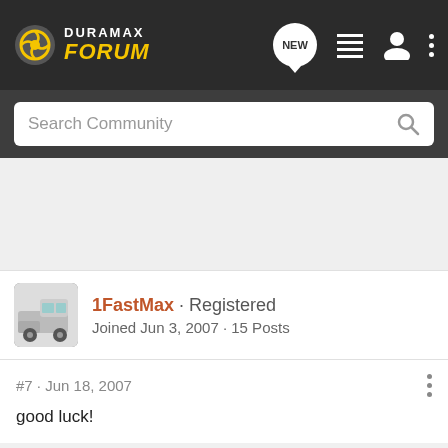Duramax Forum
Search Community
1FastMax · Registered
Joined Jun 3, 2007 · 15 Posts
#7 · Jun 18, 2007
good luck!
[Figure (screenshot): Advertisement banner showing WWW.AU-AV.COM on a black background with stars]